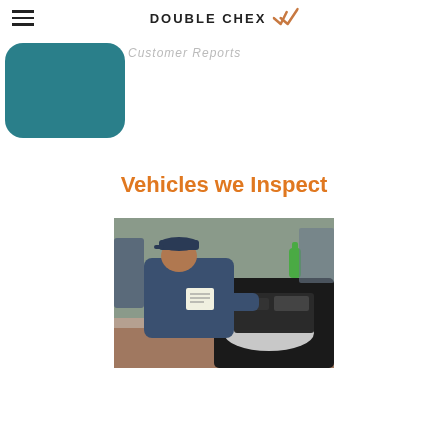DOUBLE CHEX (logo with checkmark)
[Figure (illustration): Teal rounded rectangle shape partially visible at upper left, likely part of a hero banner image]
Customer Reports (partially visible, faded)
Vehicles we Inspect
[Figure (photo): Mechanic in blue uniform and cap leaning over a car engine bay, inspecting with a clipboard in an auto repair shop]